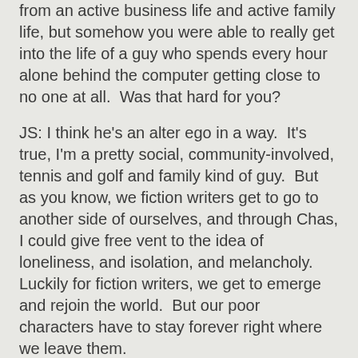from an active business life and active family life, but somehow you were able to really get into the life of a guy who spends every hour alone behind the computer getting close to no one at all.  Was that hard for you?
JS: I think he's an alter ego in a way.  It's true, I'm a pretty social, community-involved, tennis and golf and family kind of guy.  But as you know, we fiction writers get to go to another side of ourselves, and through Chas, I could give free vent to the idea of loneliness, and isolation, and melancholy.  Luckily for fiction writers, we get to emerge and rejoin the world.  But our poor characters have to stay forever right where we leave them.
WL: So I'm going to ask a technical question because I was very jealous of much of what was in the book.   I really struggle to pop in the killer twist. That's one of the